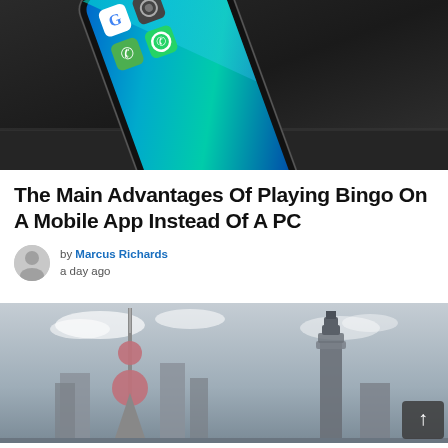[Figure (photo): Close-up photo of a smartphone with a colorful screen showing app icons including Google, camera, phone, and WhatsApp, placed on a dark surface with a teal/blue arrow graphic overlay]
The Main Advantages Of Playing Bingo On A Mobile App Instead Of A PC
by Marcus Richards
a day ago
[Figure (photo): Cityscape photo of Shanghai skyline with the Oriental Pearl Tower visible against a cloudy sky, in muted grayscale tones]